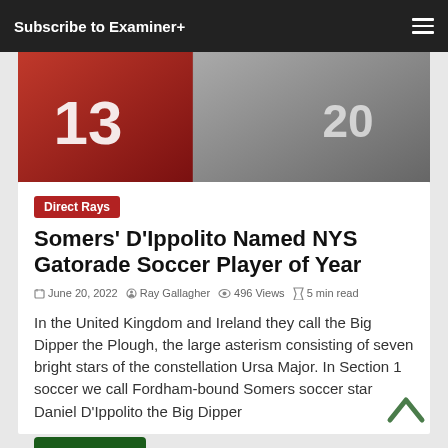Subscribe to Examiner+
[Figure (photo): Soccer players photo strip showing players in red jersey #13 and white jersey #20]
Direct Rays
Somers' D'Ippolito Named NYS Gatorade Soccer Player of Year
June 20, 2022 · Ray Gallagher · 496 Views · 5 min read
In the United Kingdom and Ireland they call the Big Dipper the Plough, the large asterism consisting of seven bright stars of the constellation Ursa Major. In Section 1 soccer we call Fordham-bound Somers soccer star Daniel D'Ippolito the Big Dipper
Read more